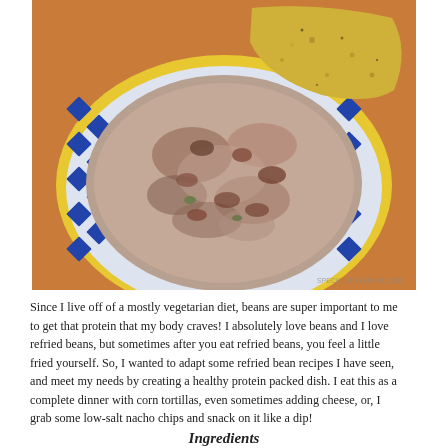[Figure (photo): A bowl with blue and white diamond pattern and yellow rim, filled with refried bean mixture (mashed/chunky beans), with a corn tortilla chip resting on top. The bowl sits on an orange/brown surface. Watermark reads speckledyellow.com in bottom right corner.]
Since I live off of a mostly vegetarian diet, beans are super important to me to get that protein that my body craves! I absolutely love beans and I love refried beans, but sometimes after you eat refried beans, you feel a little fried yourself. So, I wanted to adapt some refried bean recipes I have seen, and meet my needs by creating a healthy protein packed dish. I eat this as a complete dinner with corn tortillas, even sometimes adding cheese, or, I grab some low-salt nacho chips and snack on it like a dip!
Ingredients